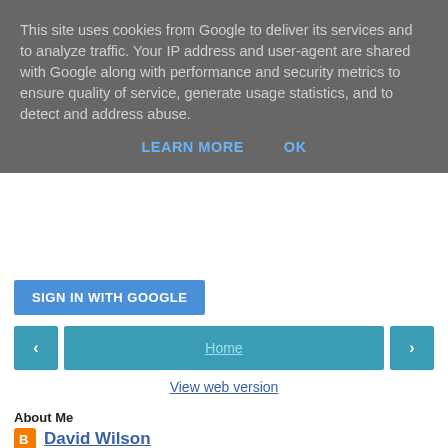This site uses cookies from Google to deliver its services and to analyze traffic. Your IP address and user-agent are shared with Google along with performance and security metrics to ensure quality of service, generate usage statistics, and to detect and address abuse.
LEARN MORE   OK
SIGN IN WITH GOOGLE
< Home >
View web version
About Me
David Wilson
View my complete profile
Powered by Blogger.